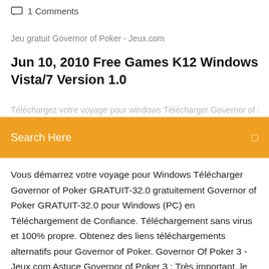1 Comments
Jeu gratuit Governor of Poker - Jeux.com
Jun 10, 2010 Free Games K12 Windows Vista/7 Version 1.0
Search Here
Vous démarrez votre voyage Windows Télécharger Governor of Poker GRATUIT-32.0 gratuitement Governor of Poker GRATUIT-32.0 pour Windows (PC) en Téléchargement de Confiance. Téléchargement sans virus et 100% propre. Obtenez des liens téléchargements alternatifs pour Governor of Poker. Governor Of Poker 3 - Jeux.com Astuce Governor of Poker 3 : Très important, le bouton définit la position du donneur de cartes, et les 2 joueurs suivants seront obligés de miser la petite et la grosse blind. De sorte qu'il y ai toujours un peu d'argent à gagner. Donc dès la mise au pot, n'ayez pas peur